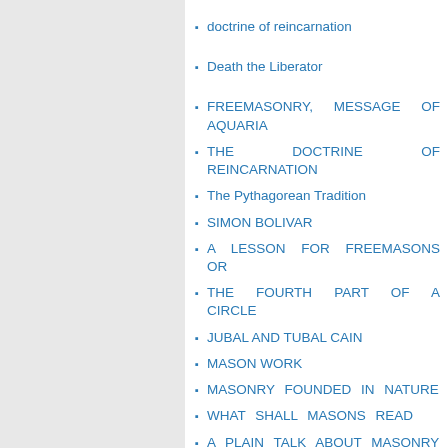doctrine of reincarnation
Death the Liberator
FREEMASONRY, MESSAGE OF AQUARIA
THE DOCTRINE OF REINCARNATION
The Pythagorean Tradition
SIMON BOLIVAR
A LESSON FOR FREEMASONS OR
THE FOURTH PART OF A CIRCLE
JUBAL AND TUBAL CAIN
MASON WORK
MASONRY FOUNDED IN NATURE
WHAT SHALL MASONS READ
A PLAIN TALK ABOUT MASONRY